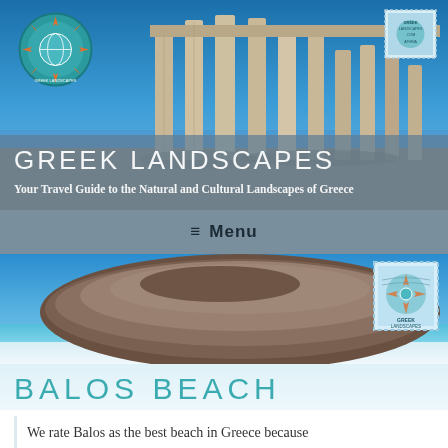[Figure (photo): Greek temple ruins (Poseidon) against blue sky, with Greek Landscapes compass rose logo top left and postage stamp top right]
GREEK LANDSCAPES
Your Travel Guide to the Natural and Cultural Landscapes of Greece
≡ Menu
[Figure (photo): Balos beach aerial/landscape view showing rocky headland and turquoise lagoon, with Greek Landscapes postage stamp top right]
BALOS BEACH
We rate Balos as the best beach in Greece because